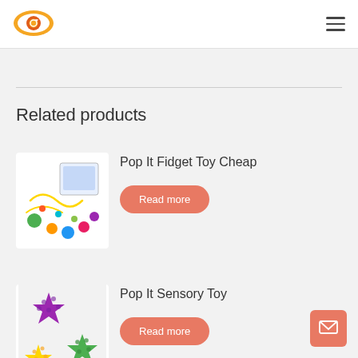[Figure (logo): Eye-shaped orange/red logo with circular arrow icon inside]
[Figure (illustration): Hamburger menu icon (three horizontal lines)]
Related products
[Figure (photo): Pop It Fidget Toy with colorful balls and string on white background]
Pop It Fidget Toy Cheap
Read more
[Figure (photo): Star-shaped pop it sensory toys in purple, yellow and green]
Pop It Sensory Toy
Read more